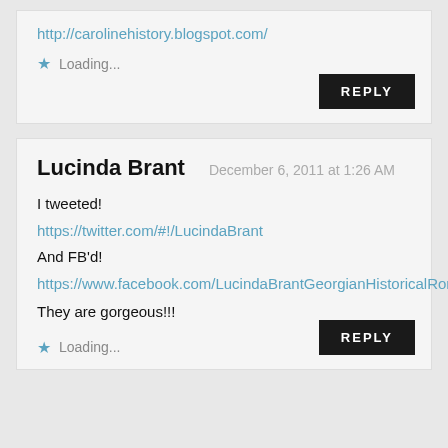http://carolinehistory.blogspot.com/
Loading...
REPLY
Lucinda Brant
December 6, 2011 at 1:26 AM
I tweeted!
https://twitter.com/#!/LucindaBrant
And FB'd!
https://www.facebook.com/LucindaBrantGeorgianHistoricalRomanceandCrimance
They are gorgeous!!!
Loading...
REPLY